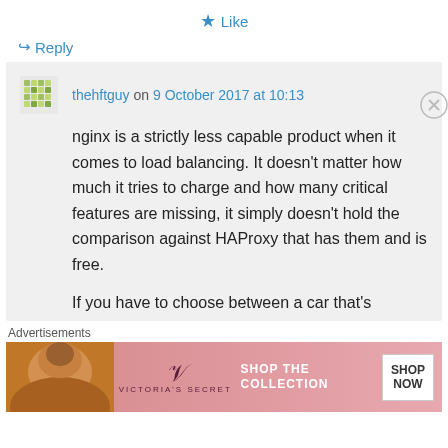★ Like
↵ Reply
thehftguy on 9 October 2017 at 10:13
nginx is a strictly less capable product when it comes to load balancing. It doesn't matter how much it tries to charge and how many critical features are missing, it simply doesn't hold the comparison against HAProxy that has them and is free.

If you have to choose between a car that's
Advertisements
[Figure (photo): Victoria's Secret advertisement banner with photo of model, VS logo, 'SHOP THE COLLECTION' text, and 'SHOP NOW' button]